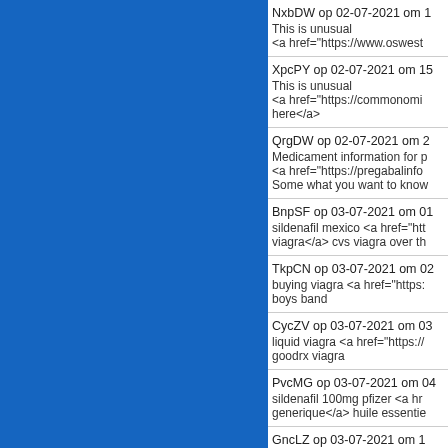[Figure (other): Blue rectangle panel on left side of page]
NxbDW op 02-07-2021 om 1
This is unusual
<a href="https://www.oswest...
XpcPY op 02-07-2021 om 15
This is unusual
<a href="https://commonomi...
here</a>
QrgDW op 02-07-2021 om 2
Medicament information for p
<a href="https://pregabalinfo...
Some what you want to know
BnpSF op 03-07-2021 om 01
sildenafil mexico <a href="htt...
viagra</a> cvs viagra over th
TkpCN op 03-07-2021 om 02
buying viagra <a href="https:...
boys band
CycZV op 03-07-2021 om 03
liquid viagra <a href="https://...
goodrx viagra
PvcMG op 03-07-2021 om 04
sildenafil 100mg pfizer <a hr...
generique</a> huile essentie
GncLZ op 03-07-2021 om 1...